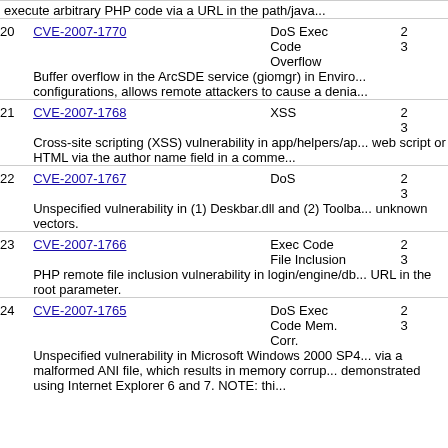execute arbitrary PHP code via a URL in the path/java...
20 CVE-2007-1770 | DoS Exec Code Overflow | 2 3
Buffer overflow in the ArcSDE service (giomgr) in Enviro... configurations, allows remote attackers to cause a denia...
21 CVE-2007-1768 | XSS | 2 3
Cross-site scripting (XSS) vulnerability in app/helpers/ap... web script or HTML via the author name field in a comme...
22 CVE-2007-1767 | DoS | 2 3
Unspecified vulnerability in (1) Deskbar.dll and (2) Toolba... unknown vectors.
23 CVE-2007-1766 | Exec Code File Inclusion | 2 3
PHP remote file inclusion vulnerability in login/engine/db... URL in the root parameter.
24 CVE-2007-1765 | DoS Exec Code Mem. Corr. | 2 3
Unspecified vulnerability in Microsoft Windows 2000 SP4... via a malformed ANI file, which results in memory corrup... demonstrated using Internet Explorer 6 and 7. NOTE: thi...